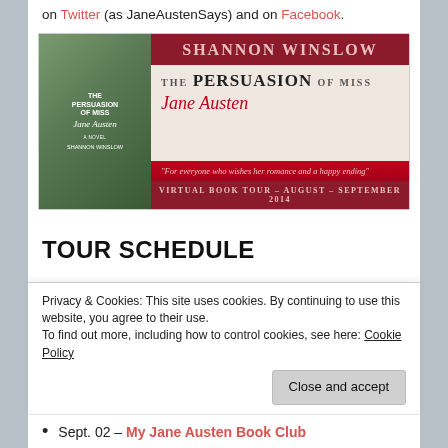on Twitter (as JaneAustenSays) and on Facebook.
[Figure (illustration): Book banner for 'The Persuasion of Miss Jane Austen' by Shannon Winslow. Red and cream promotional banner showing book cover on left and title/quote on right. Text reads: SHANNON WINSLOW, THE PERSUASION OF MISS Jane Austen, 'For everyone who wishes her romance and a happy ending', VIRTUAL BOOK TOUR - AUGUST - SEPTEMBER 2014]
TOUR SCHEDULE
Aug. 11 – Austenprose
Privacy & Cookies: This site uses cookies. By continuing to use this website, you agree to their use.
To find out more, including how to control cookies, see here: Cookie Policy
Sept. 02 – My Jane Austen Book Club